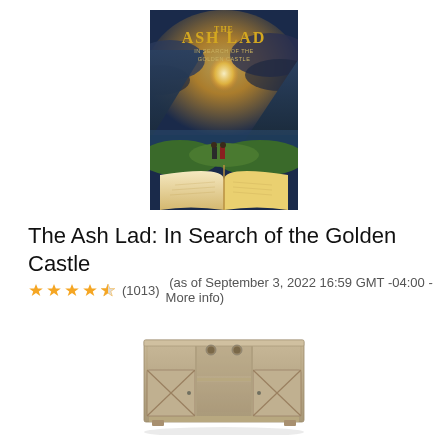[Figure (photo): Book/movie cover for 'The Ash Lad: In Search of the Golden Castle' showing two figures standing on an open book with a fantasy landscape behind them featuring mountains, water, glowing light, and dramatic clouds]
The Ash Lad: In Search of the Golden Castle
★★★★☆ (1013)  (as of September 3, 2022 16:59 GMT -04:00 - More info)
[Figure (photo): A gray/driftwood colored wooden TV stand/console with barn door style cabinet doors on each side, two open shelving cubby spaces in the center, and circular cable management holes on top]